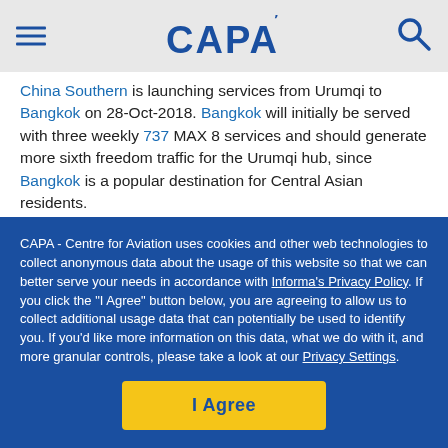CAPA
China Southern is launching services from Urumqi to Bangkok on 28-Oct-2018. Bangkok will initially be served with three weekly 737 MAX 8 services and should generate more sixth freedom traffic for the Urumqi hub, since Bangkok is a popular destination for Central Asian residents.

Bangkok will be China Southern's 16th year-round international destination from Urumqi. In addition to its
CAPA - Centre for Aviation uses cookies and other web technologies to collect anonymous data about the usage of this website so that we can better serve your needs in accordance with Informa's Privacy Policy. If you click the "I Agree" button below, you are agreeing to allow us to collect additional usage data that can potentially be used to identify you. If you'd like more information on this data, what we do with it, and more granular controls, please take a look at our Privacy Settings.